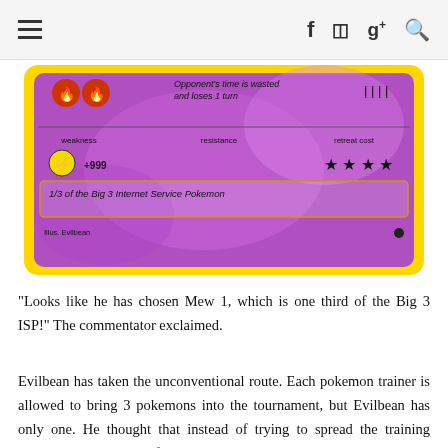≡  f  [camera]  g+  [search]
[Figure (photo): Partial view of a Pokemon trading card with yellow border on purple/pink background. Shows weakness (lightning +999), resistance, retreat cost (4 black star symbols), and flavor text '1/3 of the Big 3 Internet Service Pokemon'. Credit: Illus. Evilbean. Also shows two fire-type symbols and text 'Opponent's time is wasted and loses 1 turn'.]
"Looks like he has chosen Mew 1, which is one third of the Big 3 ISP!" The commentator exclaimed.
Evilbean has taken the unconventional route. Each pokemon trainer is allowed to bring 3 pokemons into the tournament, but Evilbean has only one. He thought that instead of trying to spread the training amongst 3 Pokemons, focusing on training just one strong Pokemon would be better. He is putting all